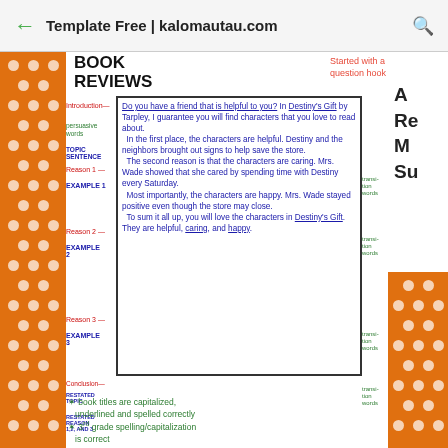Template Free | kalomautau.com
BOOK REVIEWS
Started with a question hook
[Figure (infographic): Anchor chart showing a book review structure with labeled sections: Introduction (Topic Sentence, Reason 1 with Example 1, Reason 2 with Example 2, Reason 3 with Example 3, Conclusion with Restated Topic and Restated Reason 1,2, and 3). The chart contains handwritten text in a bordered box describing a book review of Destiny's Gift by Tarpley, with persuasive words, transition words labels, and example sentences about helpful, caring, and happy characters.]
* book titles are capitalized, underlined and spelled correctly
* 3rd grade spelling/capitalization is correct